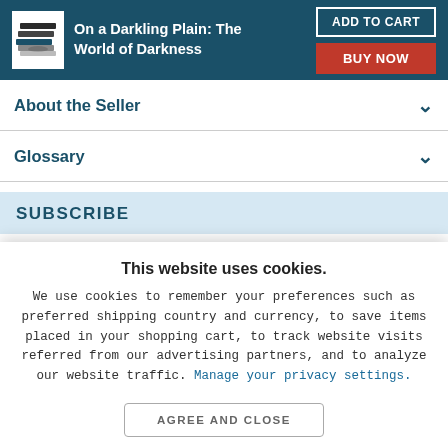On a Darkling Plain: The World of Darkness
About the Seller
Glossary
SUBSCRIBE
This website uses cookies.
We use cookies to remember your preferences such as preferred shipping country and currency, to save items placed in your shopping cart, to track website visits referred from our advertising partners, and to analyze our website traffic. Manage your privacy settings.
AGREE AND CLOSE